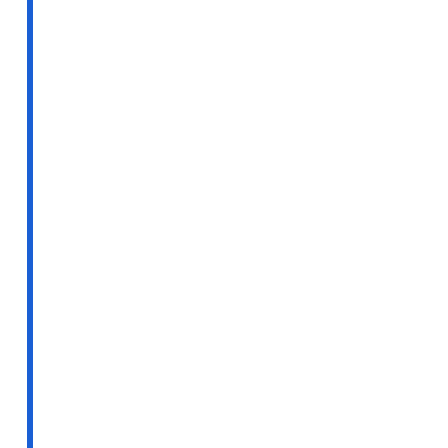the processor, bandwidth, and advertising and other information the Content you access, includ APIS's agreements with third p (e.g. podcasts) may contain ac unmodified.
If you provide feedback, ideas acknowledge that the Feedbac and without payment to you. F
You grant APIS a non-exclusiv to use, reproduce, make availa from, and distribute any of you combination with other Conten hereafter created. Aside from t property rights, in the User Co enforce any "moral rights" or e Feedback, and your right to ob
User guidelines
APIS respects intellectual prop follow when using the Service, encourage other users to do th